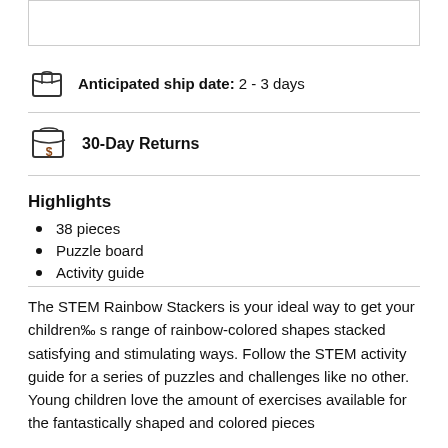[Figure (other): Top bordered rectangle box (product image placeholder)]
Anticipated ship date: 2 - 3 days
30-Day Returns
Highlights
38 pieces
Puzzle board
Activity guide
The STEM Rainbow Stackers is your ideal way to get your children‰  s range of rainbow-colored shapes stacked satisfying and stimulating ways. Follow the STEM activity guide for a series of puzzles and challenges like no other. Young children love the amount of exercises available for the fantastically shaped and colored pieces